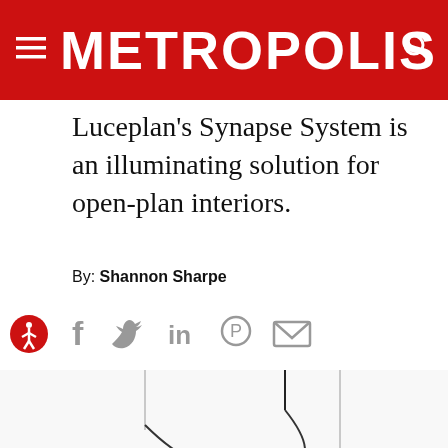METROPOLIS
Luceplan's Synapse System is an illuminating solution for open-plan interiors.
By: Shannon Sharpe
[Figure (infographic): Social sharing icons: accessibility (red circle), facebook, twitter, linkedin, pinterest, email]
[Figure (photo): Luceplan Synapse pendant lighting system showing multiple grey fixtures with blue LED tubes hanging from ceiling, photographed against white background]